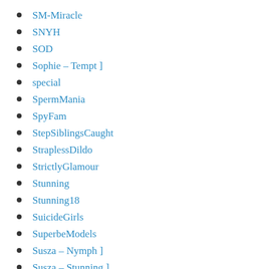SM-Miracle
SNYH
SOD
Sophie – Tempt ]
special
SpermMania
SpyFam
StepSiblingsCaught
StraplessDildo
StrictlyGlamour
Stunning
Stunning18
SuicideGirls
SuperbeModels
Susza – Nymph ]
Susza – Stunning ]